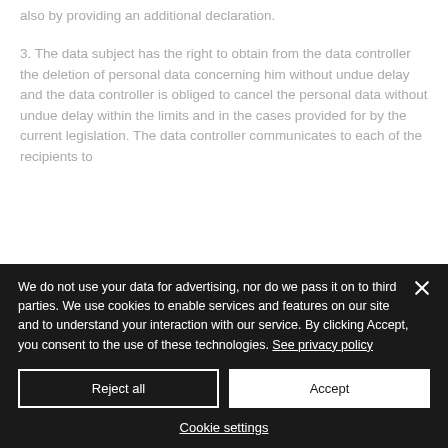also by providing an additional declaration.
3. The data subject has the right to obtain from the data controller the deletion of personal data concerning him without undue delay and the data controller is obliged to cancel the personal data without undue delay within the limits and in the cases provided for by the current legislation. The data controller communicates to each of the recipients to
We do not use your data for advertising, nor do we pass it on to third parties. We use cookies to enable services and features on our site and to understand your interaction with our service. By clicking Accept, you consent to the use of these technologies. See privacy policy
Reject all
Accept
Cookie settings